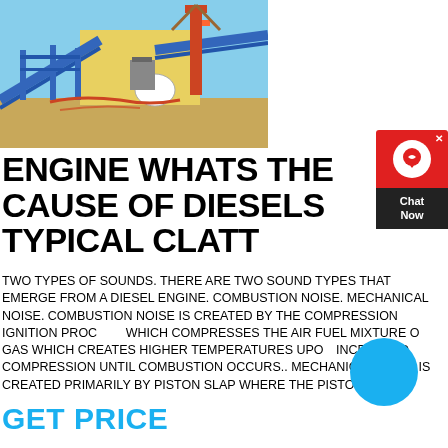[Figure (photo): Industrial facility with blue steel structures, conveyor belts, and heavy machinery against a clear sky background. Construction or mining plant.]
ENGINE WHATS THE CAUSE OF DIESELS TYPICAL CLATT
TWO TYPES OF SOUNDS. THERE ARE TWO SOUND TYPES THAT EMERGE FROM A DIESEL ENGINE. COMBUSTION NOISE. MECHANICAL NOISE. COMBUSTION NOISE IS CREATED BY THE COMPRESSION IGNITION PROCESS WHICH COMPRESSES THE AIR FUEL MIXTURE OF GAS WHICH CREATES HIGHER TEMPERATURES UPON INCREASED COMPRESSION UNTIL COMBUSTION OCCURS.. MECHANICAL NOISE IS CREATED PRIMARILY BY PISTON SLAP WHERE THE PISTON ROCKS
GET PRICE